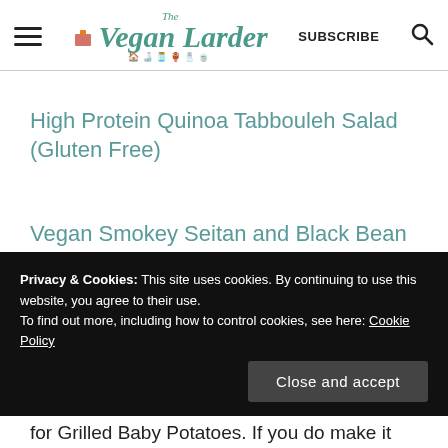The Vegan Larder | SUBSCRIBE | [search]
High Protein Quinoa Tabbouleh Salad (Gluten Free)
Vegan Smokey Seitan and Black Bean Sausages
Privacy & Cookies: This site uses cookies. By continuing to use this website, you agree to their use.
To find out more, including how to control cookies, see here: Cookie Policy
Close and accept
for Grilled Baby Potatoes. If you do make it